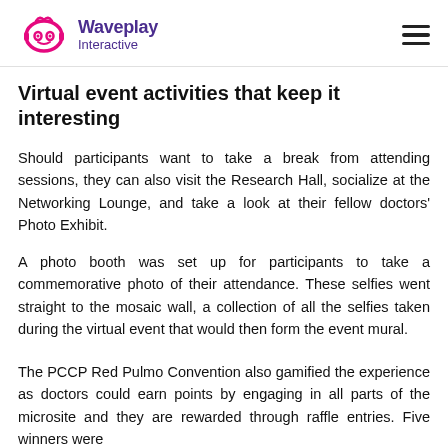Waveplay Interactive
Virtual event activities that keep it interesting
Should participants want to take a break from attending sessions, they can also visit the Research Hall, socialize at the Networking Lounge, and take a look at their fellow doctors' Photo Exhibit.
A photo booth was set up for participants to take a commemorative photo of their attendance. These selfies went straight to the mosaic wall, a collection of all the selfies taken during the virtual event that would then form the event mural.
The PCCP Red Pulmo Convention also gamified the experience as doctors could earn points by engaging in all parts of the microsite and they are rewarded through raffle entries. Five winners were